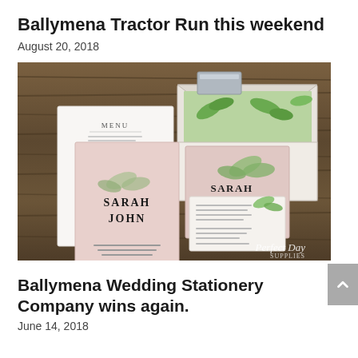Ballymena Tractor Run this weekend
August 20, 2018
[Figure (photo): Wedding stationery flat lay on a wooden surface featuring pink invitation cards with 'Sarah John' text and botanical/fern illustrations, an envelope with green botanical liner, place card, and RSVP card. Watermark reads 'Perfect Day' in bottom right corner.]
Ballymena Wedding Stationery Company wins again.
June 14, 2018